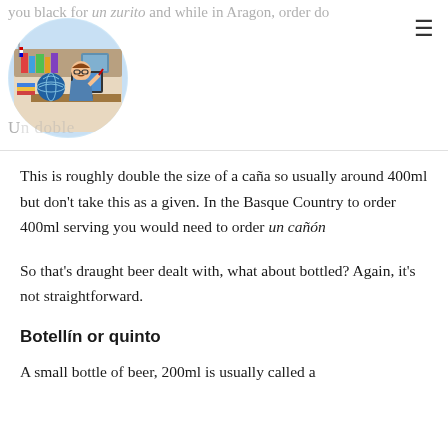you b[l]ack for un zurito and while in Aragon, order [d]oble
[Figure (illustration): Circular avatar illustration of a cartoon man with glasses and a mustache sitting at a desk with a globe, books and flags, surrounded by a round border]
This is roughly double the size of a caña so usually around 400ml but don't take this as a given. In the Basque Country to order 400ml serving you would need to order un cañón
So that's draught beer dealt with, what about bottled? Again, it's not straightforward.
Botellín or quinto
A small bottle of beer, 200ml is usually called a